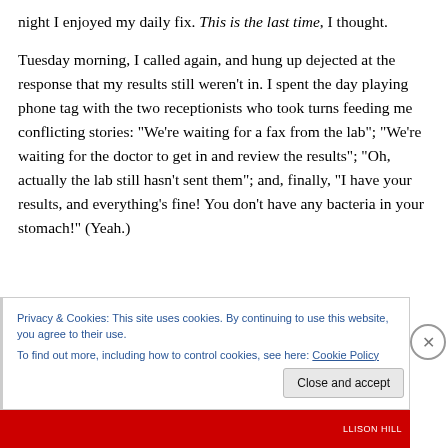night I enjoyed my daily fix. This is the last time, I thought.
Tuesday morning, I called again, and hung up dejected at the response that my results still weren't in. I spent the day playing phone tag with the two receptionists who took turns feeding me conflicting stories: “We’re waiting for a fax from the lab”; “We’re waiting for the doctor to get in and review the results”; “Oh, actually the lab still hasn’t sent them”; and, finally, “I have your results, and everything’s fine! You don’t have any bacteria in your stomach!” (Yeah.)
Privacy & Cookies: This site uses cookies. By continuing to use this website, you agree to their use.
To find out more, including how to control cookies, see here: Cookie Policy